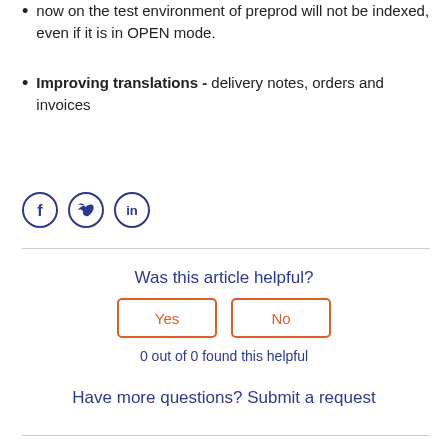now on the test environment of preprod will not be indexed, even if it is in OPEN mode.
Improving translations - delivery notes, orders and invoices
[Figure (illustration): Three social media icon circles: Facebook (f), Twitter (bird), LinkedIn (in)]
Was this article helpful?
Yes
No
0 out of 0 found this helpful
Have more questions? Submit a request